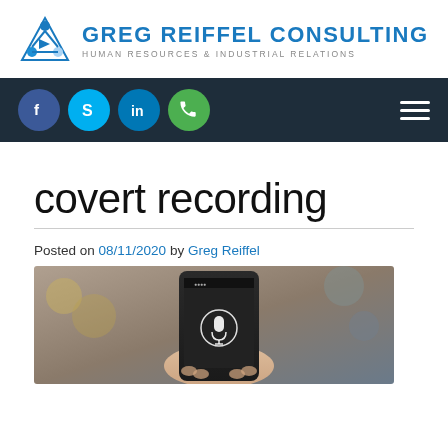[Figure (logo): Greg Reiffel Consulting logo with triangular icon and text: GREG REIFFEL CONSULTING, Human Resources & Industrial Relations]
Navigation bar with social icons: Facebook, Skype, LinkedIn, Phone, and hamburger menu
covert recording
Posted on 08/11/2020 by Greg Reiffel
[Figure (photo): Hand holding a smartphone with a microphone icon on the screen, outdoors with blurred background]